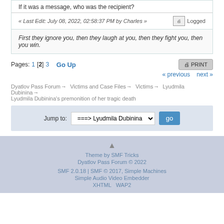If it was a message, who was the recipient?
« Last Edit: July 08, 2022, 02:58:37 PM by Charles »  Logged
First they ignore you, then they laugh at you, then they fight you, then you win.
Pages: 1 [2] 3  Go Up
« previous next »
Dyatlov Pass Forum → Victims and Case Files → Victims → Lyudmila Dubinina → Lyudmila Dubinina's premonition of her tragic death
Jump to: ===> Lyudmila Dubinina  go
Theme by SMF Tricks
Dyatlov Pass Forum © 2022
SMF 2.0.18 | SMF © 2017, Simple Machines
Simple Audio Video Embedder
XHTML  WAP2